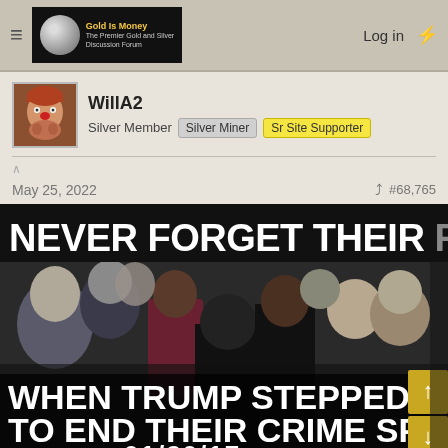Gold Is Money — The Premier Gold and Silver Discussion Forum | Log in
WillA2
Silver Member | Silver Miner | Sr Site Supporter
May 25, 2022   #68,765
[Figure (photo): Meme image with text 'NEVER FORGET THEIR FACES' at top and 'WHEN TRUMP STEPPED IN TO END THEIR CRIME SPREE 01/20/17' at bottom, overlaid on a photo of political figures at a gathering.]